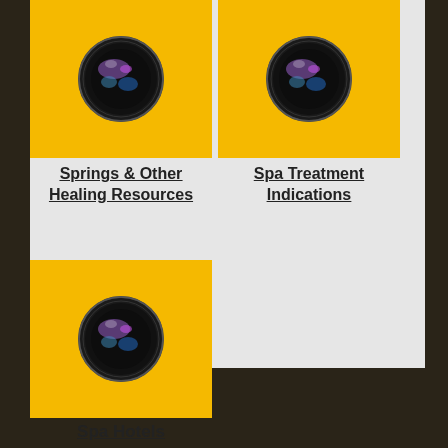[Figure (photo): Yellow tile with camera lens icon - Springs & Other Healing Resources]
Springs & Other Healing Resources
[Figure (photo): Yellow tile with camera lens icon - Spa Treatment Indications]
Spa Treatment Indications
[Figure (photo): Yellow tile with camera lens icon - Spa Hotels]
Spa Hotels